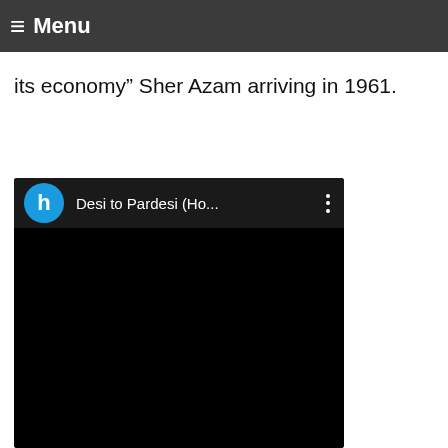≡ Menu
and its economy had to be rebuilt. We from the South Asia were invited to rebuild the country and its economy" Sher Azam arriving in 1961.
[Figure (screenshot): Embedded video player (YouTube-style) with black background. Header bar shows blue circle avatar with letter 'h', title 'Desi to Pardesi (Ho...', and a three-dot menu icon. The video area is fully black (not yet playing).]